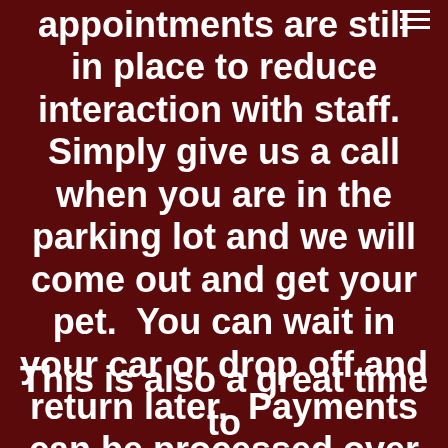appointments are still in place to reduce interaction with staff.  Simply give us a call when you are in the parking lot and we will come out and get your pet.  You can wait in your car or drop off and return later.  Payments can be processed over the phone.
This is also a great time to